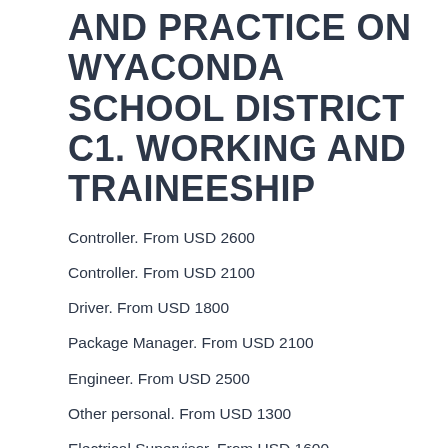AND PRACTICE ON WYACONDA SCHOOL DISTRICT C1. WORKING AND TRAINEESHIP
Controller. From USD 2600
Controller. From USD 2100
Driver. From USD 1800
Package Manager. From USD 2100
Engineer. From USD 2500
Other personal. From USD 1300
Electrical Supervisor. From USD 1600
Administrator. From USD 2400
Carpenter. From USD 2400
Electrical Supervisor. From USD 2400